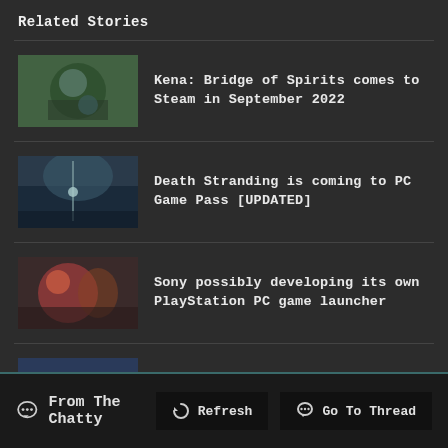Related Stories
Kena: Bridge of Spirits comes to Steam in September 2022
Death Stranding is coming to PC Game Pass [UPDATED]
Sony possibly developing its own PlayStation PC game launcher
Guild Wars 2 releases on Steam alongside its 10th anniversary
From The Chatty  Refresh  Go To Thread